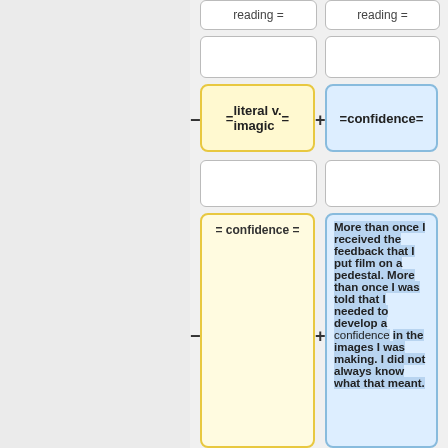reading =
reading =
= literal v. imagic =
= confidence =
= confidence =
More than once I received the feedback that I put film on a pedestal. More than once I was told that I needed to develop a confidence in the images I was making. I did not always know what that meant.